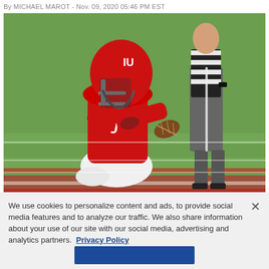By MICHAEL MAROT - Nov. 09, 2020 05:46 PM EST
[Figure (photo): Indiana Hoosiers quarterback #9 in red uniform crouching and holding a football, about to throw, with a referee in black-and-white stripes standing behind him on the football field.]
We use cookies to personalize content and ads, to provide social media features and to analyze our traffic. We also share information about your use of our site with our social media, advertising and analytics partners.  Privacy Policy